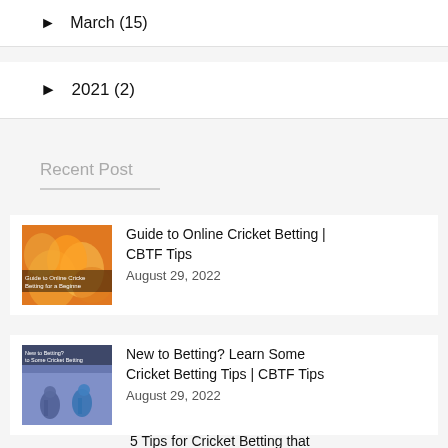► March (15)
► 2021 (2)
Recent Post
[Figure (photo): Thumbnail image for 'Guide to Online Cricket Betting | CBTF Tips' with orange flame-like background and text overlay]
Guide to Online Cricket Betting | CBTF Tips
August 29, 2022
[Figure (photo): Thumbnail image for 'New to Betting? Learn Some Cricket Betting Tips | CBTF Tips' with purple/blue background and cricket player illustration]
New to Betting? Learn Some Cricket Betting Tips | CBTF Tips
August 29, 2022
5 Tips for Cricket Betting that